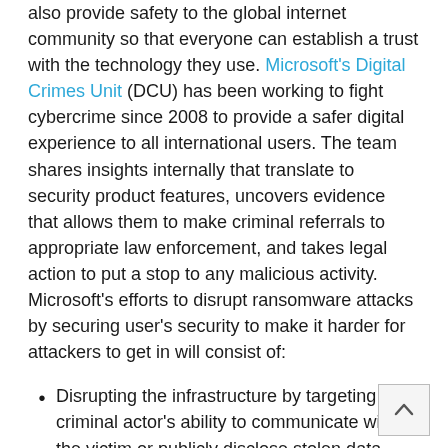also provide safety to the global internet community so that everyone can establish a trust with the technology they use. Microsoft's Digital Crimes Unit (DCU) has been working to fight cybercrime since 2008 to provide a safer digital experience to all international users. The team shares insights internally that translate to security product features, uncovers evidence that allows them to make criminal referrals to appropriate law enforcement, and takes legal action to put a stop to any malicious activity. Microsoft's efforts to disrupt ransomware attacks by securing user's security to make it harder for attackers to get in will consist of:
Disrupting the infrastructure by targeting the criminal actor's ability to communicate with the victim or publicly disclose stolen data
Disrupting the payment distribution system by targeting intermediaries that support the vulnerable elements of the system